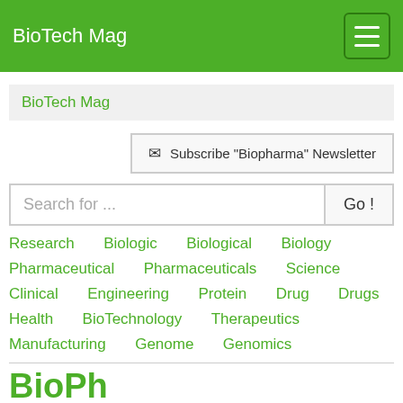BioTech Mag
BioTech Mag
Subscribe "Biopharma" Newsletter
Search for ...
Research
Biologic
Biological
Biology
Pharmaceutical
Pharmaceuticals
Science
Clinical
Engineering
Protein
Drug
Drugs
Health
BioTechnology
Therapeutics
Manufacturing
Genome
Genomics
BioPh...